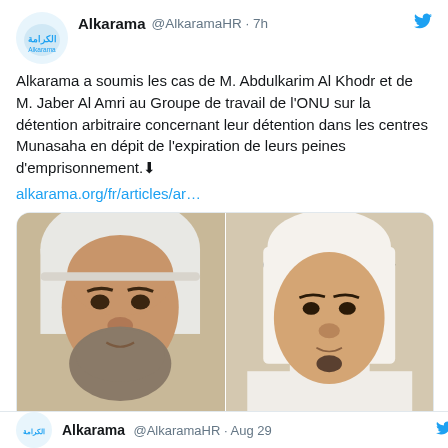[Figure (screenshot): Twitter/X social media screenshot showing a tweet from @AlkaramaHR with two portrait photos of men.]
Alkarama @AlkaramaHR · 7h
Alkarama a soumis les cas de M. Abdulkarim Al Khodr et de M. Jaber Al Amri au Groupe de travail de l'ONU sur la détention arbitraire concernant leur détention dans les centres Munasaha en dépit de l'expiration de leurs peines d'emprisonnement.⬇
alkarama.org/fr/articles/ar…
[Figure (photo): Two portrait photos side by side: left shows an older man with white headscarf and beard, right shows a younger man with black headscarf in white clothing.]
Alkarama @AlkaramaHR · Aug 29